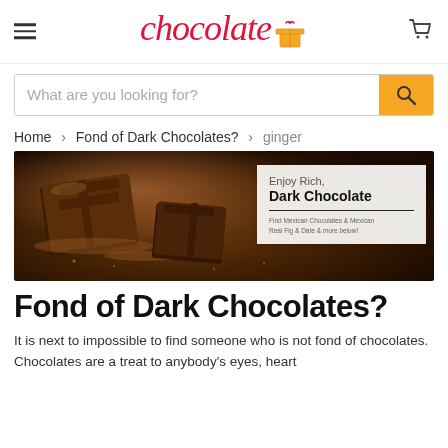chocolate [logo with gift icon] [hamburger menu] [cart icon]
What are you looking for? [search button]
Home > Fond of Dark Chocolates? > ginger
[Figure (photo): Dark chocolate pieces dusted with cocoa powder on a dark surface, with an overlay card reading 'Enjoy Rich, Dark Chocolate - Find Mexican Chocolates & Mexican Real Fig & Date & more below!']
Fond of Dark Chocolates?
It is next to impossible to find someone who is not fond of chocolates. Chocolates are a treat to anybody's eyes, heart